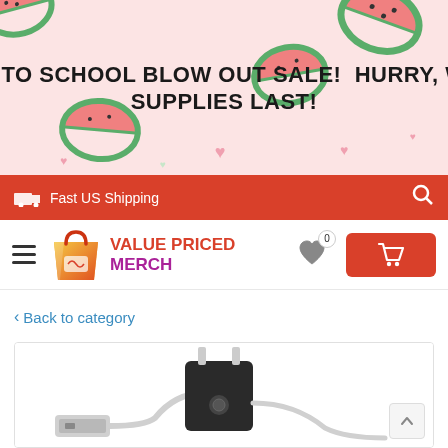[Figure (illustration): Banner with watermelon pattern background (pink/light red) showing sale text]
BACK TO SCHOOL BLOW OUT SALE!  HURRY, WHILE SUPPLIES LAST!
Fast US Shipping
[Figure (logo): Value Priced Merch logo with shopping bag icon]
Back to category
[Figure (photo): Product photo of USB charger cable and wall adapter block on white background]